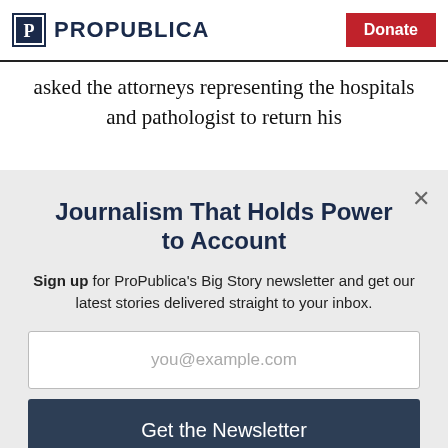ProPublica — Donate
asked the attorneys representing the hospitals and pathologist to return his
Journalism That Holds Power to Account
Sign up for ProPublica's Big Story newsletter and get our latest stories delivered straight to your inbox.
you@example.com
Get the Newsletter
No thanks, I'm all set
This site is protected by reCAPTCHA and the Google Privacy Policy and Terms of Service apply.